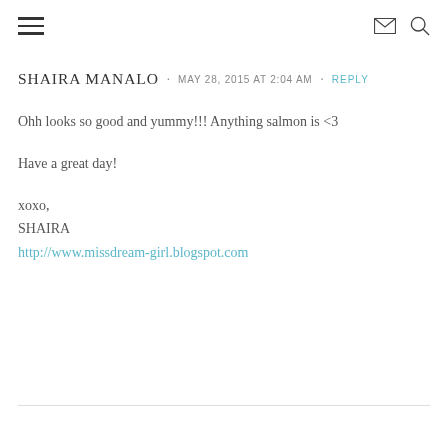≡  ✉  🔍
SHAIRA MANALO · MAY 28, 2015 AT 2:04 AM · REPLY
Ohh looks so good and yummy!!! Anything salmon is <3

Have a great day!

xoxo,
SHAIRA
http://www.missdream-girl.blogspot.com